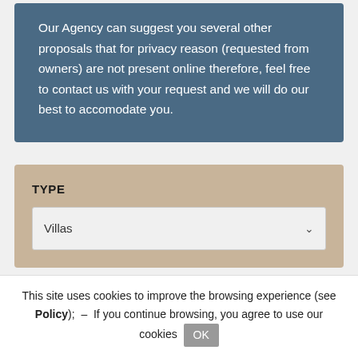Our Agency can suggest you several other proposals that for privacy reason (requested from owners) are not present online therefore, feel free to contact us with your request and we will do our best to accomodate you.
TYPE
Villas
This site uses cookies to improve the browsing experience (see Policy); – If you continue browsing, you agree to use our cookies OK